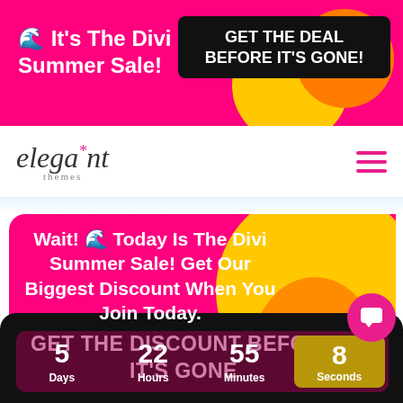[Figure (screenshot): Top promotional banner with hot pink background, left text 'It's The Divi Summer Sale!' in white bold, right black box with 'GET THE DEAL BEFORE IT'S GONE!' in white bold, decorative yellow and orange circles]
[Figure (logo): Elegant Themes logo in italic serif font with pink asterisk star above the 't', hamburger menu icon in pink on right]
Wait! 🌊 Today Is The Divi Summer Sale! Get Our Biggest Discount When You Join Today.
5 Days  22 Hours  55 Minutes  8 Seconds
GET THE DISCOUNT BEFORE IT'S GONE